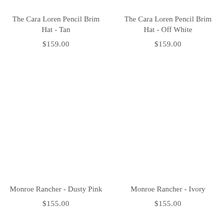The Cara Loren Pencil Brim Hat - Tan
$159.00
The Cara Loren Pencil Brim Hat - Off White
$159.00
Monroe Rancher - Dusty Pink
$155.00
Monroe Rancher - Ivory
$155.00